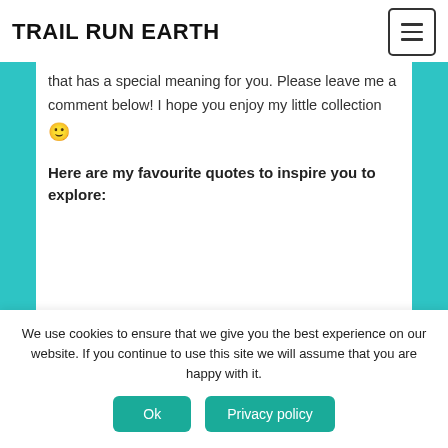TRAIL RUN EARTH
that has a special meaning for you. Please leave me a comment below! I hope you enjoy my little collection 🙂
Here are my favourite quotes to inspire you to explore:
We use cookies to ensure that we give you the best experience on our website. If you continue to use this site we will assume that you are happy with it.
Ok   Privacy policy